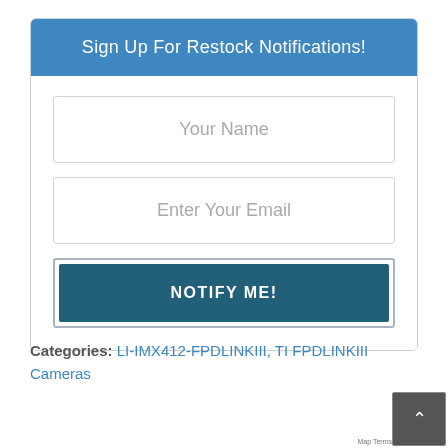Sign Up For Restock Notifications!
Your Name
Enter Your Email
NOTIFY ME!
Categories: LI-IMX412-FPDLINKIII, TI FPDLINKIII Cameras